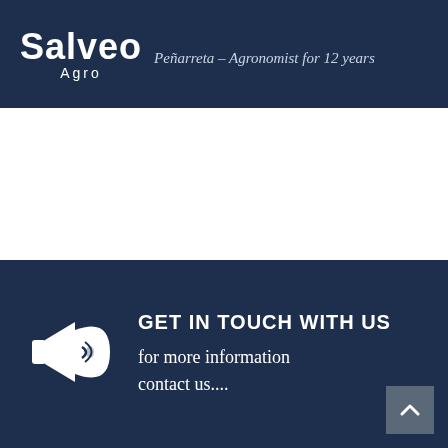Salveo Agro — Peñarreta – Agronomist for 12 years
[Figure (illustration): White section (empty space) between header and dark contact section]
[Figure (illustration): Megaphone/bullhorn icon in white, inside dark navy blue contact section]
GET IN TOUCH WITH US
for more information contact us....